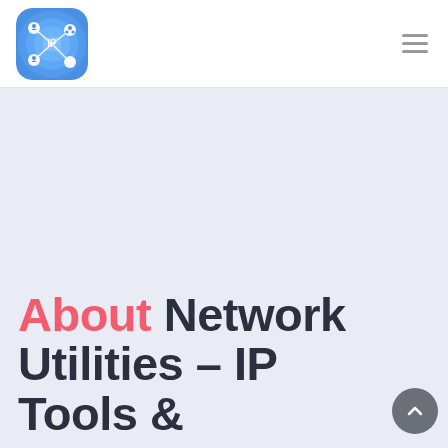[Figure (logo): App icon for Network Utilities IP Tools — blue rounded square with network nodes and IP text in center]
[Figure (other): Hamburger menu icon (three horizontal lines) in top right corner]
About Network Utilities – IP Tools &